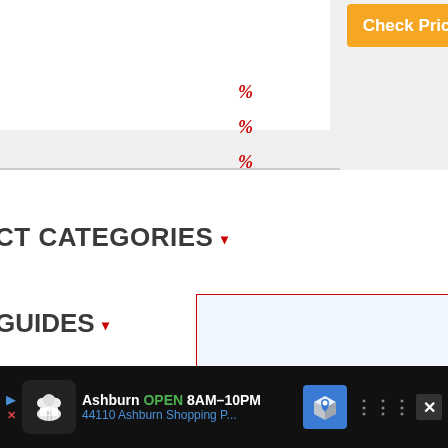[Figure (screenshot): Orange 'Check Price →' button in top right corner of a webpage navigation interface]
%
%
%
CT CATEGORIES ▾
GUIDES ▾
OPICS ▾
W FACTS
[Figure (screenshot): Advertisement banner for Ashburn location showing OPEN 8AM-10PM, address 44110 Ashburn Shopping P..., with chef logo, map icon, and navigation buttons]